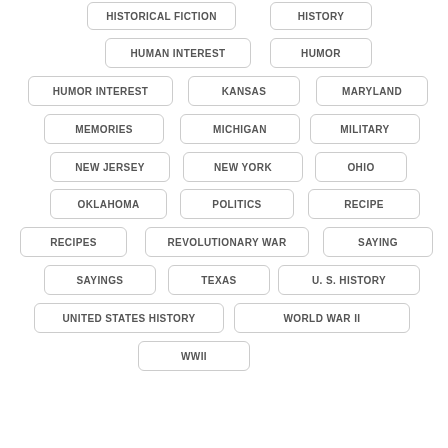HISTORICAL FICTION
HISTORY
HUMAN INTEREST
HUMOR
HUMOR INTEREST
KANSAS
MARYLAND
MEMORIES
MICHIGAN
MILITARY
NEW JERSEY
NEW YORK
OHIO
OKLAHOMA
POLITICS
RECIPE
RECIPES
REVOLUTIONARY WAR
SAYING
SAYINGS
TEXAS
U. S. HISTORY
UNITED STATES HISTORY
WORLD WAR II
WWII